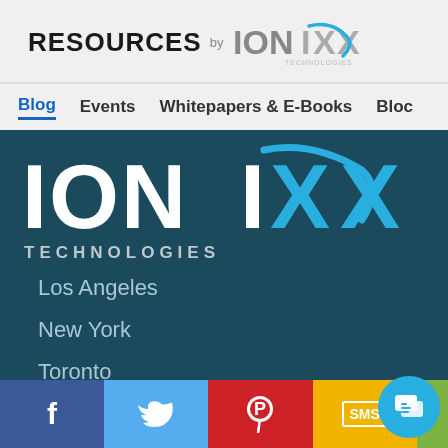RESOURCES by IONIXX TECHNOLOGIES
Blog  Events  Whitepapers & E-Books  Bloc
[Figure (logo): Ionixx Technologies logo in white on dark teal background with large IONIXX text and blue swoosh accent, TECHNOLOGIES subtitle]
Los Angeles
New York
Toronto
Singapore
Facebook  Twitter  Pinterest  SMS  (chat icon)